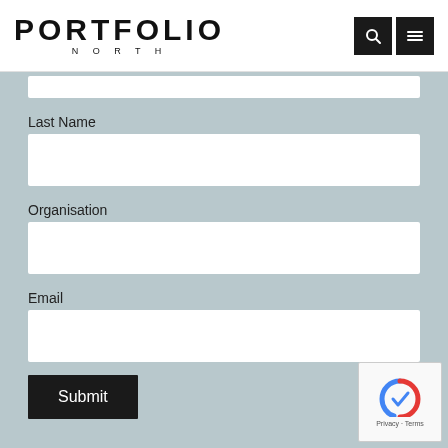PORTFOLIO NORTH
Last Name
Organisation
Email
Submit